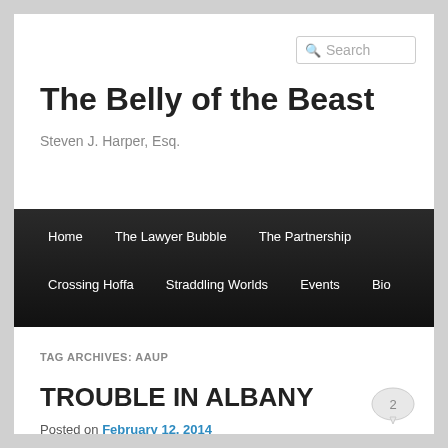Search
The Belly of the Beast
Steven J. Harper, Esq.
Home   The Lawyer Bubble   The Partnership   Crossing Hoffa   Straddling Worlds   Events   Bio
TAG ARCHIVES: AAUP
TROUBLE IN ALBANY
Posted on February 12, 2014